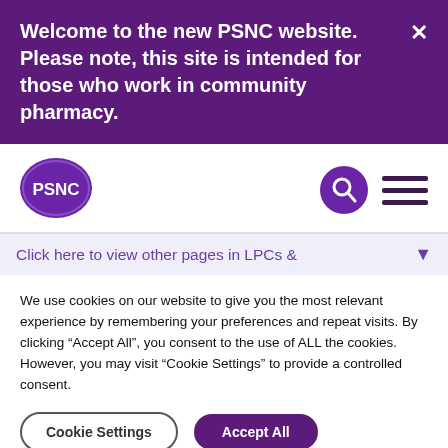Welcome to the new PSNC website. Please note, this site is intended for those who work in community pharmacy.
[Figure (logo): PSNC logo — white text on purple oval]
[Figure (other): Search icon (magnifying glass on purple circle) and hamburger menu icon]
Click here to view other pages in LPCs &
We use cookies on our website to give you the most relevant experience by remembering your preferences and repeat visits. By clicking "Accept All", you consent to the use of ALL the cookies. However, you may visit "Cookie Settings" to provide a controlled consent.
Cookie Settings   Accept All